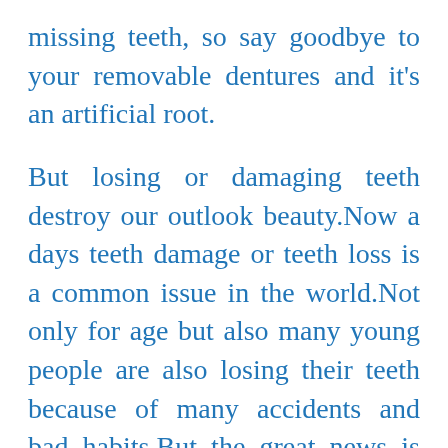missing teeth, so say goodbye to your removable dentures and it’s an artificial root.
But losing or damaging teeth destroy our outlook beauty.Now a days teeth damage or teeth loss is a common issue in the world.Not only for age but also many young people are also losing their teeth because of many accidents and bad habits.But the great news is modern technology invented the ways to replace the missing teeth. Our wish is replacing damaged or missing teeth the most popular treatment option is dental